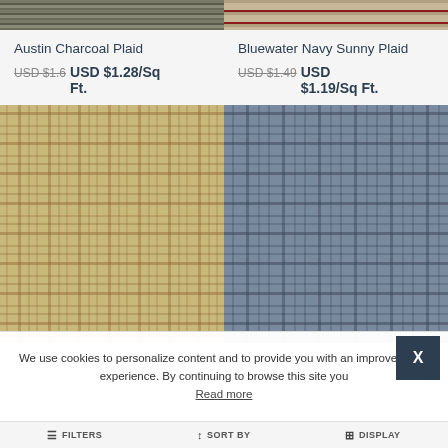[Figure (photo): Top partial crop of Austin Charcoal Plaid fabric swatch]
[Figure (photo): Top partial crop of Bluewater Navy Sunny Plaid fabric swatch]
Austin Charcoal Plaid
USD $1.6  USD $1.28/Sq Ft.
Bluewater Navy Sunny Plaid
USD $1.49  USD $1.19/Sq Ft.
[Figure (photo): Tan/beige plaid fabric swatch with reddish-brown plaid pattern]
[Figure (photo): Blue-grey plaid fabric swatch with dark blue-grey plaid pattern]
We use cookies to personalize content and to provide you with an improved user experience. By continuing to browse this site you
Read more
FILTERS  SORT BY  DISPLAY